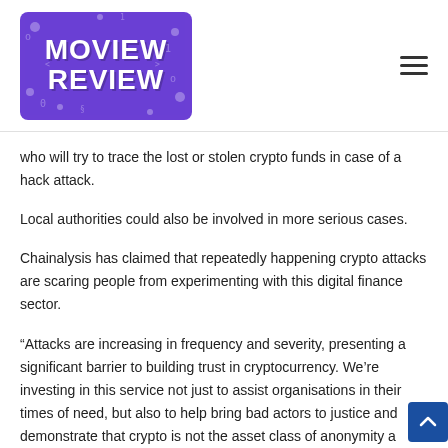MOVIEW REVIEW
who will try to trace the lost or stolen crypto funds in case of a hack attack.
Local authorities could also be involved in more serious cases.
Chainalysis has claimed that repeatedly happening crypto attacks are scaring people from experimenting with this digital finance sector.
“Attacks are increasing in frequency and severity, presenting a significant barrier to building trust in cryptocurrency. We’re investing in this service not just to assist organisations in their times of need, but also to help bring bad actors to justice and demonstrate that crypto is not the asset class of anonymity and crime,” the research firm noted.